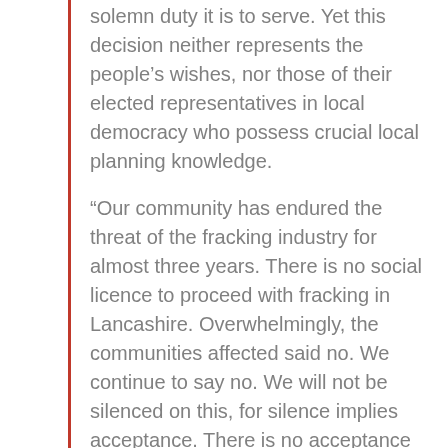solemn duty it is to serve. Yet this decision neither represents the people's wishes, nor those of their elected representatives in local democracy who possess crucial local planning knowledge.
“Our community has endured the threat of the fracking industry for almost three years. There is no social licence to proceed with fracking in Lancashire. Overwhelmingly, the communities affected said no. We continue to say no. We will not be silenced on this, for silence implies acceptance. There is no acceptance of a fracking industry.
"The decision by this lone voice in Westminster to overturn local democracy, has reverberated throughout the country.  It begs the question of whether local democracy even exists, if it can